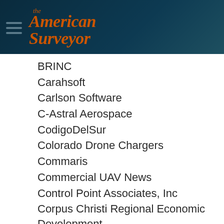the American Surveyor
BRINC
Carahsoft
Carlson Software
C-Astral Aerospace
CodigoDelSur
Colorado Drone Chargers
Commaris
Commercial UAV News
Control Point Associates, Inc
Corpus Christi Regional Economic Development Corporation
CR Flight
Culver Technologies
Cupix